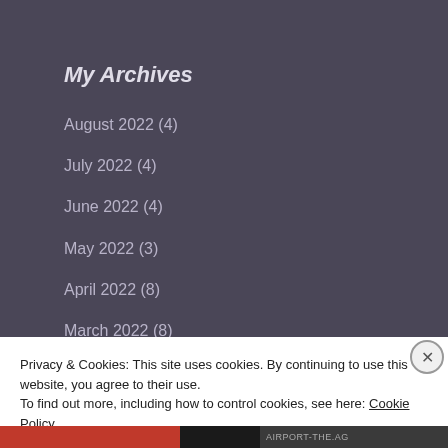My Archives
August 2022 (4)
July 2022 (4)
June 2022 (4)
May 2022 (3)
April 2022 (8)
March 2022 (8)
January 2022 (8)
Privacy & Cookies: This site uses cookies. By continuing to use this website, you agree to their use.
To find out more, including how to control cookies, see here: Cookie Policy
Close and accept